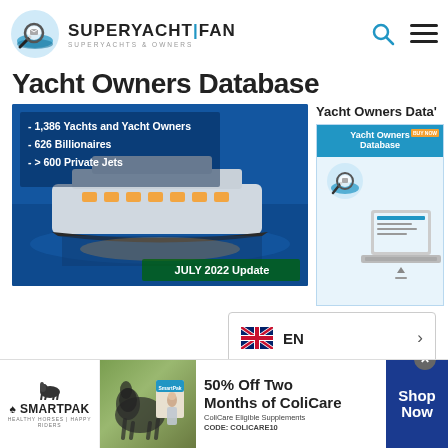[Figure (logo): SuperYacht Fan logo with magnifying glass and waves icon, brand name SUPERYACHT|FAN, tagline SUPERYACHTS & OWNERS]
Yacht Owners Database
[Figure (photo): Large superyacht illuminated at night on blue water with text listing: - 1,386 Yachts and Yacht Owners, - 626 Billionaires, - > 600 Private Jets, JULY 2022 Update]
[Figure (illustration): Yacht Owners Database promotional panel on right side showing Yacht Owners Database title and product image with laptop]
[Figure (screenshot): Language selector showing UK flag, EN text, and right arrow chevron]
[Figure (other): SmartPak advertisement banner: 50% Off Two Months of ColiCare, ColiCare Eligible Supplements, CODE: COLICARE10, Shop Now button]